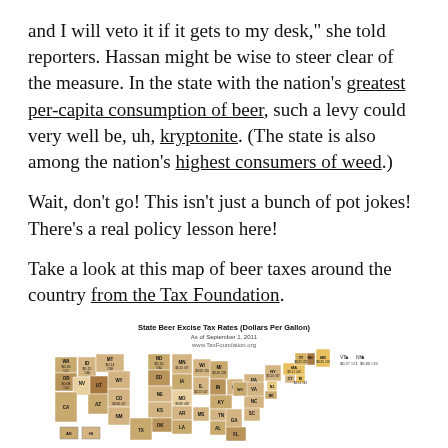and I will veto it if it gets to my desk," she told reporters. Hassan might be wise to steer clear of the measure. In the state with the nation's greatest per-capita consumption of beer, such a levy could very well be, uh, kryptonite. (The state is also among the nation's highest consumers of weed.)
Wait, don't go! This isn't just a bunch of pot jokes! There's a real policy lesson here!
Take a look at this map of beer taxes around the country from the Tax Foundation.
[Figure (map): State Beer Excise Tax Rates (Dollars Per Gallon) As of September 1, 2011 - www.TaxFoundation.org - A choropleth map of the United States showing beer excise tax rates by state, colored in shades of tan/brown.]